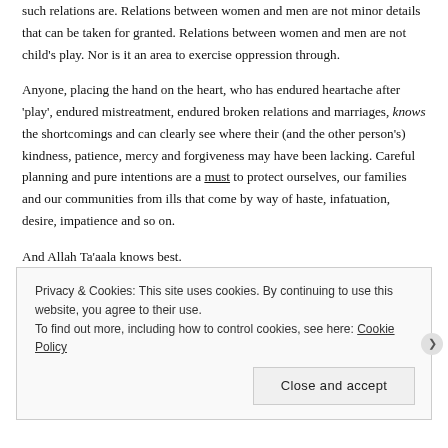such relations are. Relations between women and men are not minor details that can be taken for granted. Relations between women and men are not child's play. Nor is it an area to exercise oppression through.
Anyone, placing the hand on the heart, who has endured heartache after 'play', endured mistreatment, endured broken relations and marriages, knows the shortcomings and can clearly see where their (and the other person's) kindness, patience, mercy and forgiveness may have been lacking. Careful planning and pure intentions are a must to protect ourselves, our families and our communities from ills that come by way of haste, infatuation, desire, impatience and so on.
And Allah Ta'aala knows best.
Privacy & Cookies: This site uses cookies. By continuing to use this website, you agree to their use.
To find out more, including how to control cookies, see here: Cookie Policy
Close and accept